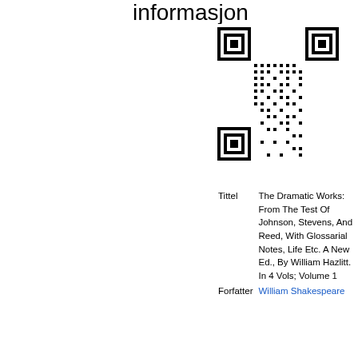informasjon
[Figure (other): QR code image linking to book information]
| Tittel | The Dramatic Works: From The Test Of Johnson, Stevens, And Reed, With Glossarial Notes, Life Etc. A New Ed., By William Hazlitt. In 4 Vols; Volume 1 |
| Forfatter | William Shakespeare |